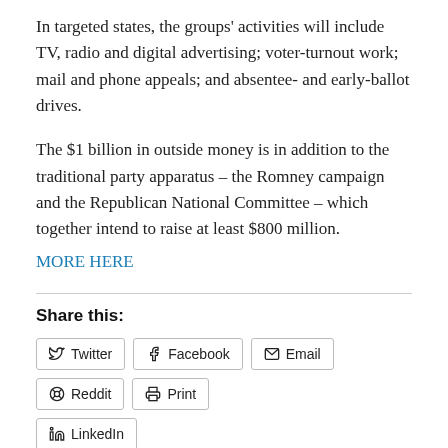In targeted states, the groups' activities will include TV, radio and digital advertising; voter-turnout work; mail and phone appeals; and absentee- and early-ballot drives.
The $1 billion in outside money is in addition to the traditional party apparatus – the Romney campaign and the Republican National Committee – which together intend to raise at least $800 million.
MORE HERE
Share this:
Twitter  Facebook  Email  Reddit  Print  LinkedIn
Like  Be the first to like this.